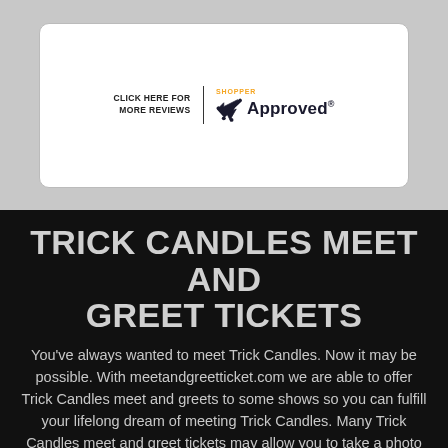[Figure (screenshot): Shopper Approved widget card showing 'CLICK HERE FOR MORE REVIEWS' text next to the Shopper Approved logo with checkmark]
TRICK CANDLES MEET AND GREET TICKETS
You've always wanted to meet Trick Candles. Now it may be possible. With meetandgreetticket.com we are able to offer Trick Candles meet and greets to some shows so you can fulfill your lifelong dream of meeting Trick Candles. Many Trick Candles meet and greet tickets may allow you to take a photo with your idol. Many other Trick Candles meet and greets come with preshow sound checks or food and drinks in a special VIP area so you can enjoy Trick Candles meet and greet experiences in luxury. Trick Candles meet and greets...